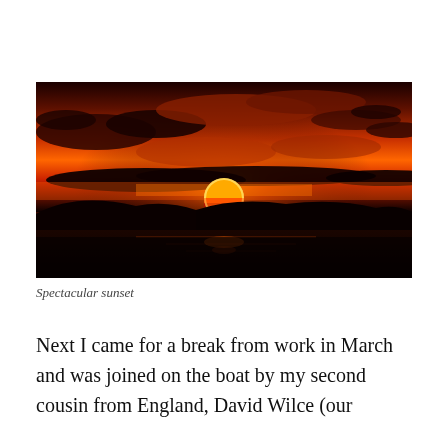[Figure (photo): A dramatic sunset over water with a glowing orange and red sky. The sun is partially above the horizon, silhouetted hills in the background, and dark water in the foreground. Heavy clouds are illuminated in deep red and orange tones.]
Spectacular sunset
Next I came for a break from work in March and was joined on the boat by my second cousin from England, David Wilce (our